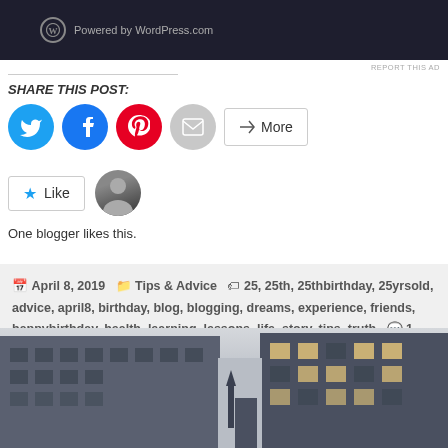[Figure (screenshot): WordPress.com powered ad banner with dark background]
REPORT THIS AD
SHARE THIS POST:
[Figure (infographic): Social share buttons: Twitter (blue circle), Facebook (blue circle), Pinterest (red circle), Email (gray circle), and More button]
[Figure (infographic): Like button with star icon and blogger avatar thumbnail]
One blogger likes this.
April 8, 2019   Tips & Advice   25, 25th, 25thbirthday, 25yrsold, advice, april8, birthday, blog, blogging, dreams, experience, friends, happybirthday, health, learning, lessons, life, story, tips, truth   1 Comment
[Figure (photo): City street view with tall buildings on either side and a spire visible in the background against a gray sky]